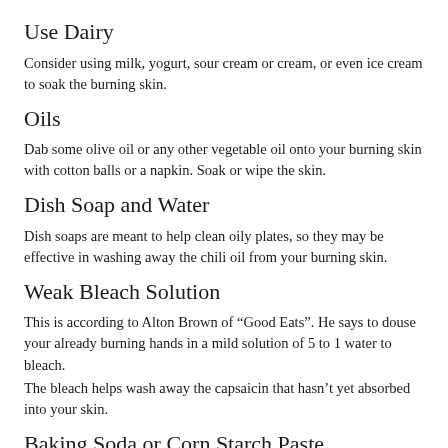Use Dairy
Consider using milk, yogurt, sour cream or cream, or even ice cream to soak the burning skin.
Oils
Dab some olive oil or any other vegetable oil onto your burning skin with cotton balls or a napkin. Soak or wipe the skin.
Dish Soap and Water
Dish soaps are meant to help clean oily plates, so they may be effective in washing away the chili oil from your burning skin.
Weak Bleach Solution
This is according to Alton Brown of “Good Eats”. He says to douse your already burning hands in a mild solution of 5 to 1 water to bleach.
The bleach helps wash away the capsaicin that hasn’t yet absorbed into your skin.
Baking Soda or Corn Starch Paste
Starches can help draw out the oil from your burning skin so you can wash it away and possibly neutralize it.